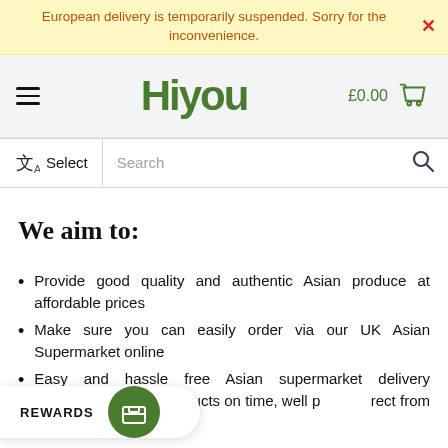European delivery is temporarily suspended. Sorry for the inconvenience.
[Figure (logo): HiYou logo in green with hamburger menu and shopping cart showing £0.00]
[Figure (screenshot): Language select and search bar with translation icon, Select text, Search placeholder, and magnifying glass icon]
We aim to:
Provide good quality and authentic Asian produce at affordable prices
Make sure you can easily order via our UK Asian Supermarket online
Easy and hassle free Asian supermarket delivery w... ver your products on time, well p... rect from our Asian supermarket
[Figure (infographic): REWARDS button with green circle icon at bottom left]